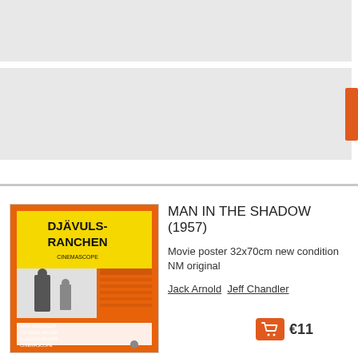[Figure (screenshot): Gray navigation/header block at top of e-commerce page]
[Figure (photo): Movie poster for Djävuls-Ranchen (Man in the Shadow, 1957) - orange and yellow poster with black text]
MAN IN THE SHADOW (1957)
Movie poster 32x70cm new condition NM original
Jack Arnold  Jeff Chandler
€11